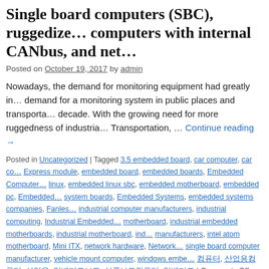Single board computers (SBC), ruggedized computers with internal CANbus, and net…
Posted on October 19, 2017 by admin
Nowadays, the demand for monitoring equipment had greatly increased, demand for a monitoring system in public places and transportation decade. With the growing need for more ruggedness of industrial Transportation, … Continue reading →
Posted in Uncategorized | Tagged 3.5 embedded board, car computer, car co… Express module, embedded board, embedded boards, Embedded Computer… linux, embedded linux sbc, embedded motherboard, embedded pc, Embedded… system boards, Embedded Systems, embedded systems companies, Fanless… industrial computer manufacturers, industrial computing, Industrial Embedded… motherboard, industrial embedded motherboards, industrial motherboard, ind… manufacturers, intel atom motherboard, Mini ITX, network hardware, Network… single board computer manufacturer, vehicle mount computer, windows embe… 컴퓨터, 산업용컴퓨터, 산업용, 임베디드보드, 싱글보드컴퓨터, 임베디드 | Comments Off
The company prides itself with a roster of technology products it manufactures for…